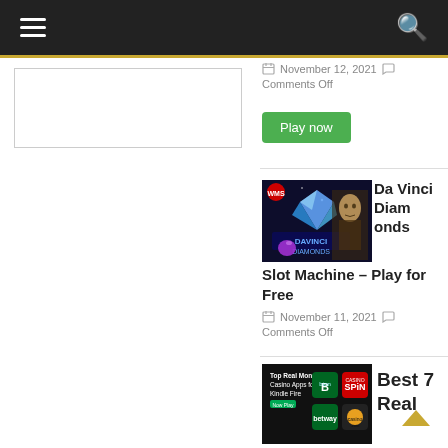Navigation bar with hamburger menu and search icon
November 12, 2021  Comments Off
Play now
[Figure (screenshot): Da Vinci Diamonds slot machine game thumbnail showing Mona Lisa and diamonds on dark background]
Da Vinci Diamonds Slot Machine – Play for Free
November 11, 2021  Comments Off
[Figure (screenshot): Top Real Money Casino Apps for Kindle Fire showing Byton, SPIN, betway, casino.com app icons]
Best 7 Real